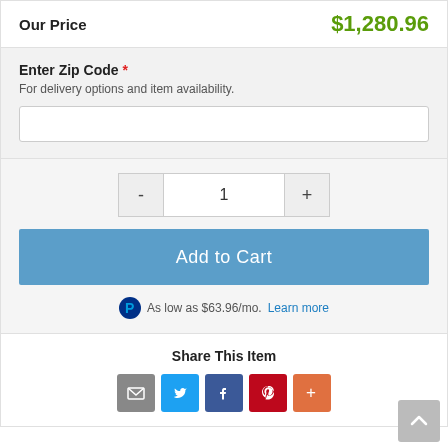Our Price   $1,280.96
Enter Zip Code *
For delivery options and item availability.
1
Add to Cart
As low as $63.96/mo. Learn more
Share This Item